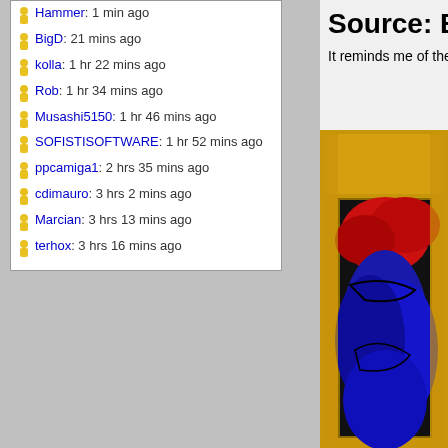Hammer:  1 min ago
BigD:  21 mins ago
kolla:  1 hr 22 mins ago
Rob:  1 hr 34 mins ago
Musashi5150:  1 hr 46 mins ago
SOFISTISOFTWARE:  1 hr 52 mins ago
ppcamiga1:  2 hrs 35 mins ago
cdimauro:  3 hrs 2 mins ago
Marcian:  3 hrs 13 mins ago
terhox:  3 hrs 16 mins ago
Source: BBC
It reminds me of the battle
[Figure (photo): Framed painting with red and blue abstract shapes, gold ornate frame visible on sides, blue dominant in lower portion]